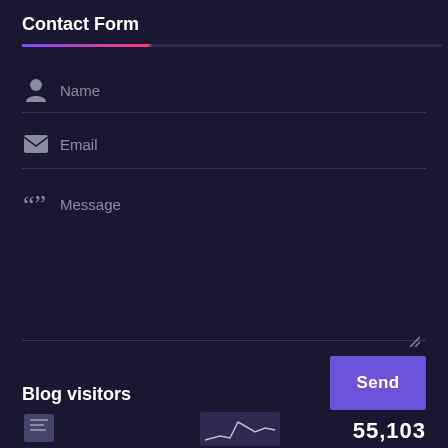Contact Form
Name
Email
Message
Send
Blog visitors
55,103